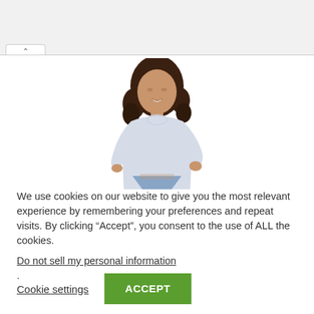[Figure (screenshot): Browser tab bar and address bar chrome at top of page, showing a partially visible browser UI with a tab and address bar area.]
[Figure (photo): A woman with curly hair wearing a light blue/white long-sleeve shirt and denim shorts, posed with hand on hip, on a white background. Product photo for an online clothing store.]
We use cookies on our website to give you the most relevant experience by remembering your preferences and repeat visits. By clicking “Accept”, you consent to the use of ALL the cookies.
Do not sell my personal information.
Cookie settings
ACCEPT